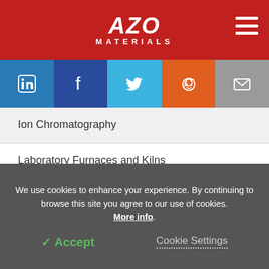AZO MATERIALS
[Figure (infographic): Social media sharing bar with LinkedIn, Facebook, Twitter, Reddit, and Email icons]
Ion Chromatography
Laboratory Furnaces and Kilns
Laboratory Gas Generators
Laboratory Grinders, Cutters and Polishers
We use cookies to enhance your experience. By continuing to browse this site you agree to our use of cookies. More info.
✓ Accept
Cookie Settings